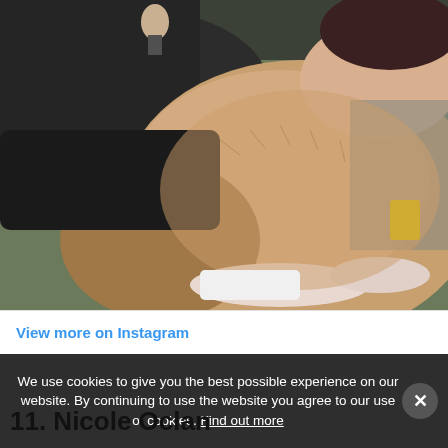[Figure (photo): Close-up photo of a person crouching outdoors, wearing dark shorts and white shoes, with bare legs visible. The background shows an outdoor/park setting.]
View more on Instagram
We use cookies to give you the best possible experience on our website. By continuing to use the website you agree to our use of cookies. Find out more
11. Nicole Oclan